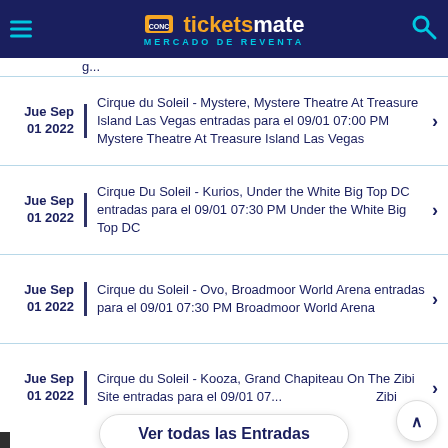[Figure (screenshot): TicketsMate header logo with hamburger menu and search icon on dark navy background]
Jue Sep 01 2022 — Cirque du Soleil - Mystere, Mystere Theatre At Treasure Island Las Vegas entradas para el 09/01 07:00 PM Mystere Theatre At Treasure Island Las Vegas
Jue Sep 01 2022 — Cirque Du Soleil - Kurios, Under the White Big Top DC entradas para el 09/01 07:30 PM Under the White Big Top DC
Jue Sep 01 2022 — Cirque du Soleil - Ovo, Broadmoor World Arena entradas para el 09/01 07:30 PM Broadmoor World Arena
Jue Sep 01 2022 — Cirque du Soleil - Kooza, Grand Chapiteau On The Zibi Site entradas para el 09/01 07... Zibi
Ver todas las Entradas